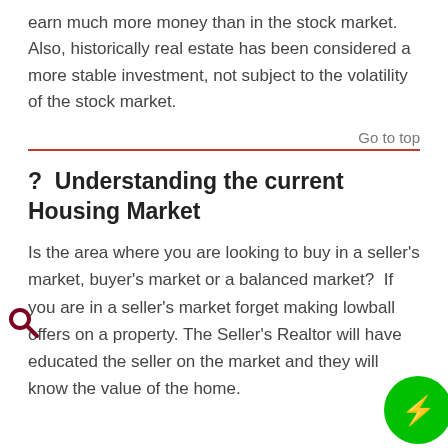earn much more money than in the stock market.  Also, historically real estate has been considered a more stable investment, not subject to the volatility of the stock market.
Go to top
?  Understanding the current Housing Market
Is the area where you are looking to buy in a seller's market, buyer's market or a balanced market?  If you are in a seller's market forget making lowball offers on a property. The Seller's Realtor will have educated the seller on the market and they will know the value of the home.